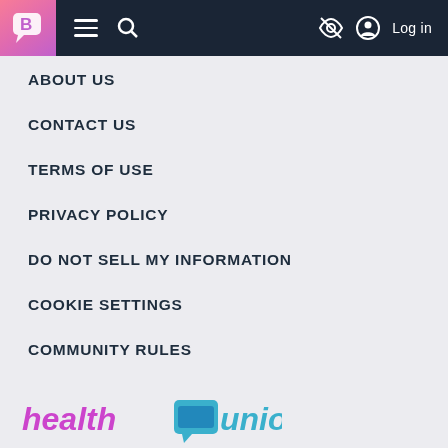B [logo] ≡ 🔍 [eye-slash icon] Log in
ABOUT US
CONTACT US
TERMS OF USE
PRIVACY POLICY
DO NOT SELL MY INFORMATION
COOKIE SETTINGS
COMMUNITY RULES
HELP CENTER
AD CHOICES
[Figure (logo): Health Union logo with stylized speech bubble icon in teal/blue, 'health' in magenta/purple italic text and 'union' in teal italic text]